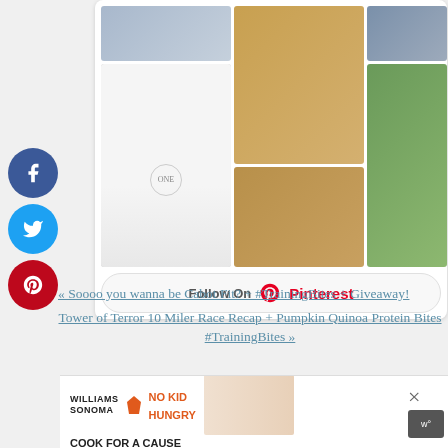[Figure (photo): Pinterest widget showing a collage of food/celebration photos including cake, biscuits, berries, and a banner, with a 'Follow On Pinterest' button below]
[Figure (infographic): Social media share buttons sidebar: Facebook (blue), Twitter (cyan), Pinterest (red) circular buttons on the left side]
« Soooo you wanna be Cabot Fit? + #TrainingBites + Giveaway!
Tower of Terror 10 Miler Race Recap + Pumpkin Quinoa Protein Bites #TrainingBites »
[Figure (photo): Williams Sonoma No Kid Hungry Cook for a Cause advertisement banner with colorful spatulas and baking items]